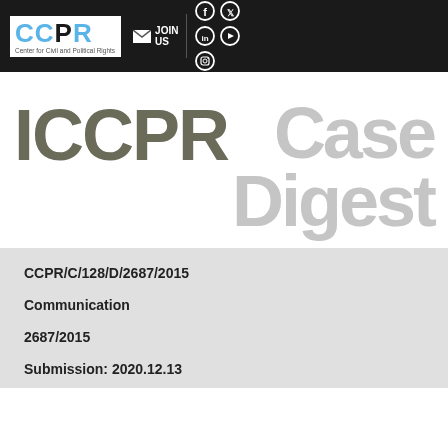CCPR Center for Civil and Political Rights | JOIN US | Social icons: Facebook, Twitter, LinkedIn, YouTube, Instagram
ICCPR Case Digest
CCPR/C/128/D/2687/2015
Communication
2687/2015
Submission: 2020.12.13